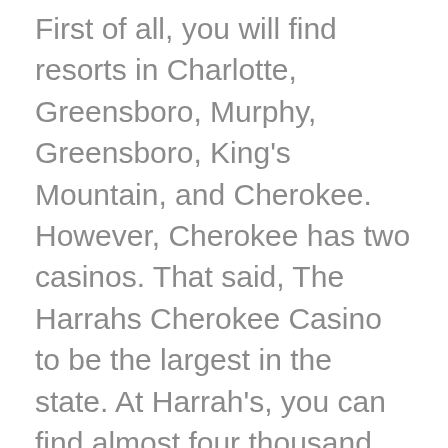First of all, you will find resorts in Charlotte, Greensboro, Murphy, Greensboro, King's Mountain, and Cherokee. However, Cherokee has two casinos. That said, The Harrahs Cherokee Casino to be the largest in the state. At Harrah's, you can find almost four thousand different slot machines and hundreds of table games. Moreover, contact them directly at (828) 497-7777. When it comes to North Carolina casino resorts with the most prominent gaming floor, The King's Mountain Catawba takes the cake. At King's Mountain Catawba, you